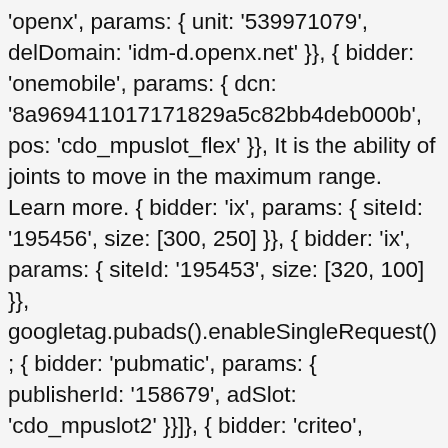'openx', params: { unit: '539971079', delDomain: 'idm-d.openx.net' }}, { bidder: 'onemobile', params: { dcn: '8a969411017171829a5c82bb4deb000b', pos: 'cdo_mpuslot_flex' }}, It is the ability of joints to move in the maximum range. Learn more. { bidder: 'ix', params: { siteId: '195456', size: [300, 250] }}, { bidder: 'ix', params: { siteId: '195453', size: [320, 100] }}, googletag.pubads().enableSingleRequest(); { bidder: 'pubmatic', params: { publisherId: '158679', adSlot: 'cdo_mpuslot2' }}]}, { bidder: 'criteo', params: { networkId: 7100, publisherSubId: 'cdo_topslot' }}, { bidder: 'criteo', params: { networkId: 7100, publisherSubId: 'cdo_mpuslot' }}, - an overload of 10% beyond their normal load is recommended - at that amount of overload, you should feel tension but not pain. { bidder: 'ix', params: { siteId: '195457', size: [300, 250] }}, { bidder: 'pubmatic', params: { publisherId: '158679', adSlot: 'cdo_mpuslot3' }}]}]; { bidder: 'ix', params: { siteId: '195466', size: [728, 90] }},